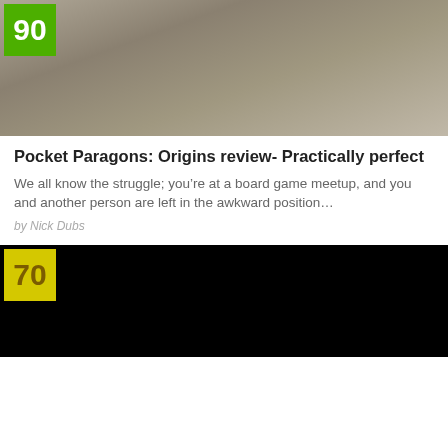[Figure (photo): Photo of Pocket Paragons: Origins card game components laid out on a table, with a score badge of 90 in green overlay top-left]
Pocket Paragons: Origins review- Practically perfect
We all know the struggle; you’re at a board game meetup, and you and another person are left in the awkward position…
by Nick Dubs
[Figure (photo): Dark/black image with a score badge of 70 in yellow overlay top-left]